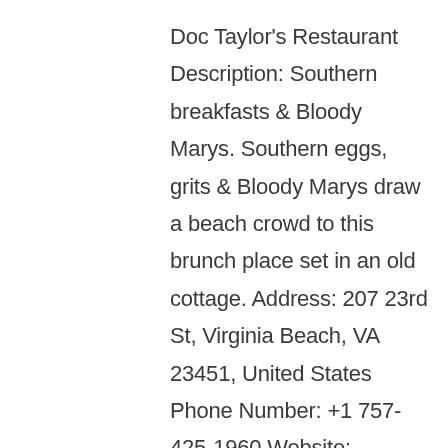Doc Taylor's Restaurant Description: Southern breakfasts & Bloody Marys. Southern eggs, grits & Bloody Marys draw a beach crowd to this brunch place set in an old cottage. Address: 207 23rd St, Virginia Beach, VA 23451, United States Phone Number: +1 757-425-1960 Website: http://doctaylors.com/ Store Hours: Sunday: 7AM-2PM | Monday: Closed | Tuesday: